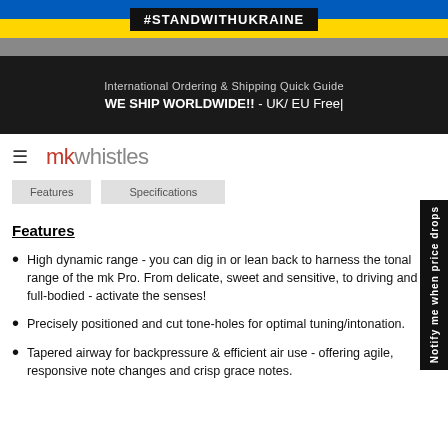#STANDWITHUKRAINE
International Ordering & Shipping Quick Guide
WE SHIP WORLDWIDE!! - UK/ EU Free|
[Figure (logo): mkwhistles logo with hamburger menu icon]
Features
High dynamic range - you can dig in or lean back to harness the tonal range of the mk Pro. From delicate, sweet and sensitive, to driving and full-bodied - activate the senses!
Precisely positioned and cut tone-holes for optimal tuning/intonation.
Tapered airway for backpressure & efficient air use - offering agile, responsive note changes and crisp grace notes.